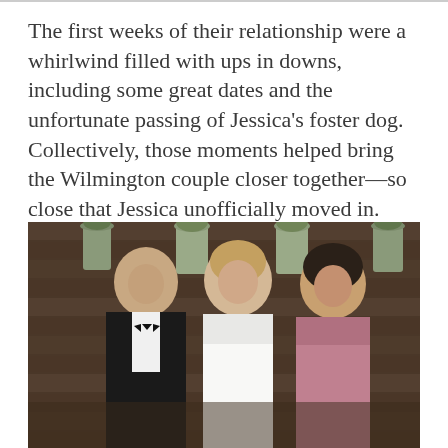The first weeks of their relationship were a whirlwind filled with ups in downs, including some great dates and the unfortunate passing of Jessica's foster dog. Collectively, those moments helped bring the Wilmington couple closer together—so close that Jessica unofficially moved in.
[Figure (photo): Wedding photo showing a groom in a black tuxedo with bow tie and two women (one in a white wedding dress, one in a pink/mauve dress) smiling at each other in front of a rustic wooden wall with hanging potted plants and greenery.]